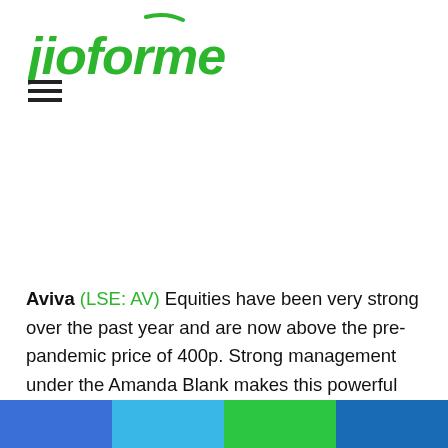[Figure (logo): jioforme logo in green italic text with a small leaf/smile icon above]
[Figure (other): Hamburger menu icon (three horizontal lines)]
Aviva (LSE: AV) Equities have been very strong over the past year and are now above the pre-pandemic price of 400p. Strong management under the Amanda Blank makes this powerful performance possible.
[Figure (infographic): Footer color bar with four segments: blue, light blue, green, dark blue]